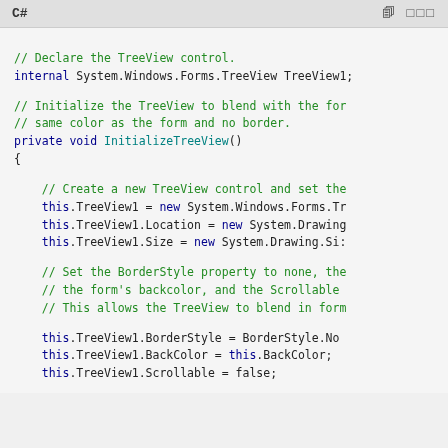C#
// Declare the TreeView control.
internal System.Windows.Forms.TreeView TreeView1;

// Initialize the TreeView to blend with the form, same color as the form and no border.
private void InitializeTreeView()
{

    // Create a new TreeView control and set the...
    this.TreeView1 = new System.Windows.Forms.Tr...
    this.TreeView1.Location = new System.Drawing...
    this.TreeView1.Size = new System.Drawing.Si:...

    // Set the BorderStyle property to none, the...
    // the form's backcolor, and the Scrollable...
    // This allows the TreeView to blend in form...

    this.TreeView1.BorderStyle = BorderStyle.No...
    this.TreeView1.BackColor = this.BackColor;
    this.TreeView1.Scrollable = false;